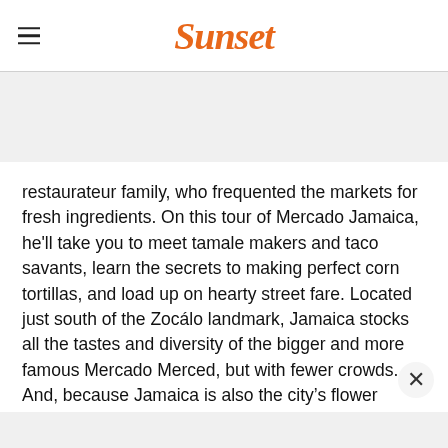Sunset
restaurateur family, who frequented the markets for fresh ingredients. On this tour of Mercado Jamaica, he'll take you to meet tamale makers and taco savants, learn the secrets to making perfect corn tortillas, and load up on hearty street fare. Located just south of the Zocálo landmark, Jamaica stocks all the tastes and diversity of the bigger and more famous Mercado Merced, but with fewer crowds. And, because Jamaica is also the city's flower depot, you can expect plenty of eye candy in the form of technicolor blooms you never even knew existed.